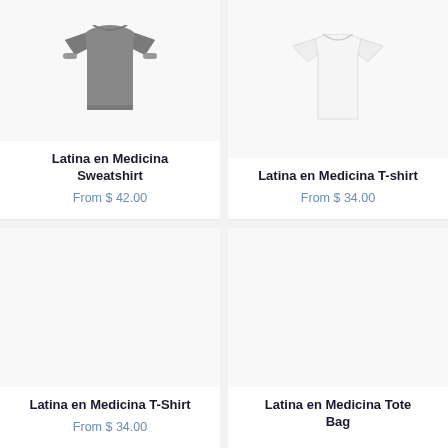[Figure (photo): Gray sweatshirt product image]
Latina en Medicina Sweatshirt
From $ 42.00
[Figure (photo): White t-shirt product image]
Latina en Medicina T-shirt
From $ 34.00
[Figure (photo): Second T-shirt product image (blank)]
Latina en Medicina T-Shirt
From $ 34.00
[Figure (photo): Tote bag product image (blank)]
Latina en Medicina Tote Bag